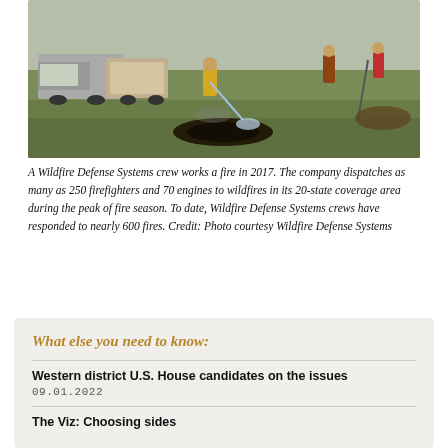[Figure (photo): A Wildfire Defense Systems crew working a fire in 2017, with firefighters using hoses in a grassy field with a truck nearby.]
A Wildfire Defense Systems crew works a fire in 2017. The company dispatches as many as 250 firefighters and 70 engines to wildfires in its 20-state coverage area during the peak of fire season. To date, Wildfire Defense Systems crews have responded to nearly 600 fires. Credit: Photo courtesy Wildfire Defense Systems
What else you need to know:
Western district U.S. House candidates on the issues
09.01.2022
The Viz: Choosing sides